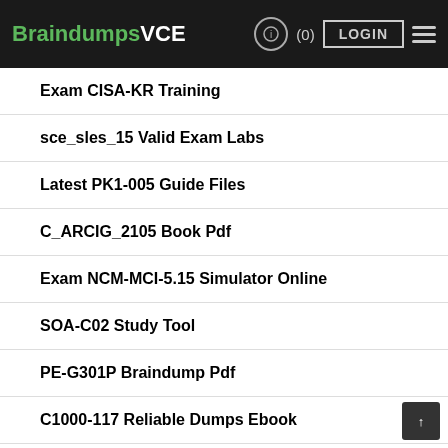BraindumpsVCE (0) LOGIN
Exam CISA-KR Training
sce_sles_15 Valid Exam Labs
Latest PK1-005 Guide Files
C_ARCIG_2105 Book Pdf
Exam NCM-MCI-5.15 Simulator Online
SOA-C02 Study Tool
PE-G301P Braindump Pdf
C1000-117 Reliable Dumps Ebook
A00-405 Guide Torrent
Valid Test 1z0-1068-22 Test